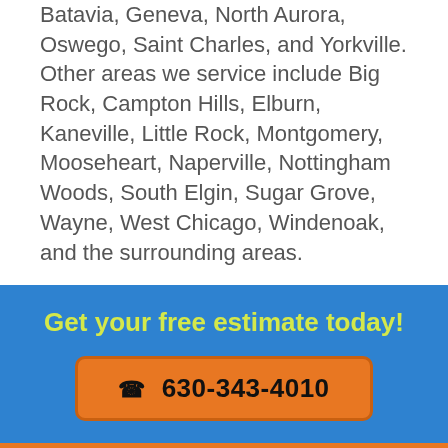Batavia, Geneva, North Aurora, Oswego, Saint Charles, and Yorkville. Other areas we service include Big Rock, Campton Hills, Elburn, Kaneville, Little Rock, Montgomery, Mooseheart, Naperville, Nottingham Woods, South Elgin, Sugar Grove, Wayne, West Chicago, Windenoak, and the surrounding areas.
Get your free estimate today!
630-343-4010
Facebook
Instagram
Google